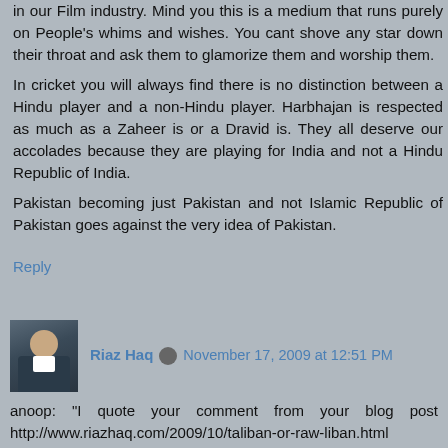in our Film industry. Mind you this is a medium that runs purely on People's whims and wishes. You cant shove any star down their throat and ask them to glamorize them and worship them.
In cricket you will always find there is no distinction between a Hindu player and a non-Hindu player. Harbhajan is respected as much as a Zaheer is or a Dravid is. They all deserve our accolades because they are playing for India and not a Hindu Republic of India.
Pakistan becoming just Pakistan and not Islamic Republic of Pakistan goes against the very idea of Pakistan.
Reply
Riaz Haq  November 17, 2009 at 12:51 PM
anoop: "I quote your comment from your blog post http://www.riazhaq.com/2009/10/taliban-or-raw-liban.html
**This is not "The Taliban" from Afghanistan, some of whom are ideologues and purists.**"
The way I have used "purists" after "ideologues" does not